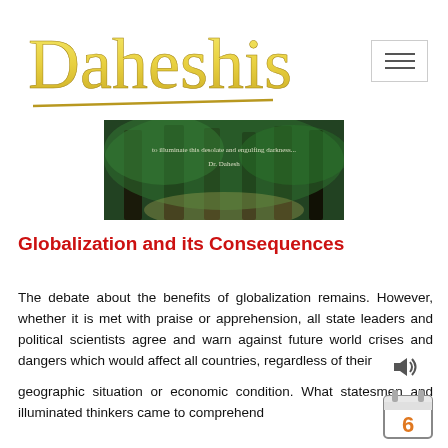[Figure (logo): Daheshism logo in yellow/gold cursive script with decorative underline]
[Figure (photo): Banner photo showing dark tree trunks against a green forest background with text overlay reading 'to illuminate this desolate and engulfing darkness - Dr. Dahesh']
Globalization and its Consequences
The debate about the benefits of globalization remains. However, whether it is met with praise or apprehension, all state leaders and political scientists agree and warn against future world crises and dangers which would affect all countries, regardless of their
geographic situation or economic condition. What statesmen and illuminated thinkers came to comprehend